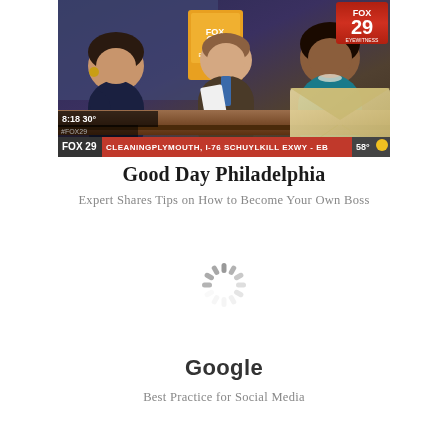[Figure (screenshot): FOX 29 news broadcast screenshot showing three anchors at a desk. Lower third reads CLEANINGPLYMOUTH, I-76 SCHUYLKILL EXWY - EB. Time shown as 8:16, 30°. FOX 29 logo visible in upper right.]
Good Day Philadelphia
Expert Shares Tips on How to Become Your Own Boss
[Figure (other): Loading spinner / activity indicator]
Google
Best Practice for Social Media